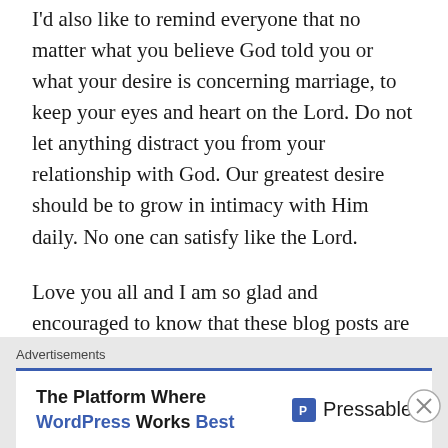I'd also like to remind everyone that no matter what you believe God told you or what your desire is concerning marriage, to keep your eyes and heart on the Lord. Do not let anything distract you from your relationship with God. Our greatest desire should be to grow in intimacy with Him daily. No one can satisfy like the Lord.
Love you all and I am so glad and encouraged to know that these blog posts are helping you all! ❤
★ Liked by 1 person
Advertisements
The Platform Where WordPress Works Best — Pressable